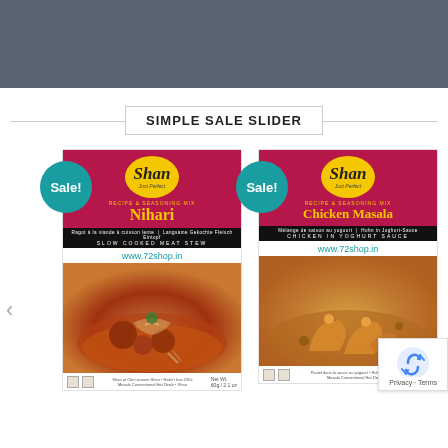[Figure (screenshot): Dark gray header bar at top of webpage]
SIMPLE SALE SLIDER
[Figure (photo): Shan Nihari Recipe & Seasoning Mix product box with Sale badge and food image showing slow cooked meat stew, website www.72shop.in]
[Figure (photo): Shan Chicken Masala Recipe & Seasoning Mix product box with Sale badge and food image showing chicken in yoghurt sauce, website www.72shop.in]
[Figure (other): Google reCAPTCHA badge with Privacy and Terms links]